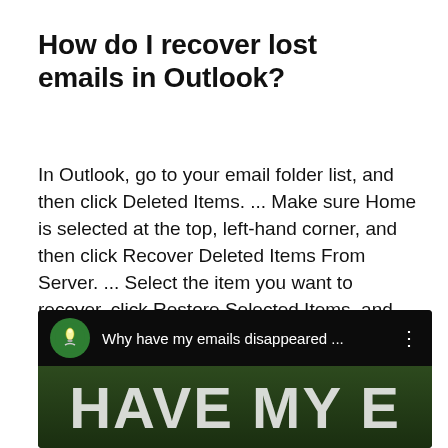How do I recover lost emails in Outlook?
In Outlook, go to your email folder list, and then click Deleted Items. ... Make sure Home is selected at the top, left-hand corner, and then click Recover Deleted Items From Server. ... Select the item you want to recover, click Restore Selected Items, and then click OK.
[Figure (screenshot): Screenshot of a YouTube video thumbnail showing a video titled 'Why have my emails disappeared ...' with a green lightbulb avatar icon and large text 'HAVE MY E...' on a dark green background.]